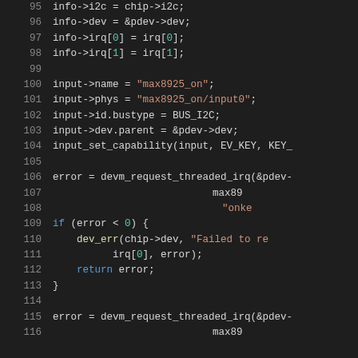[Figure (screenshot): Source code listing in a dark-themed code editor showing C code lines 95–116. Line numbers are shown in grey on the left, with syntax highlighting: keywords in blue, strings in orange, numbers in light blue, and plain code in white/grey.]